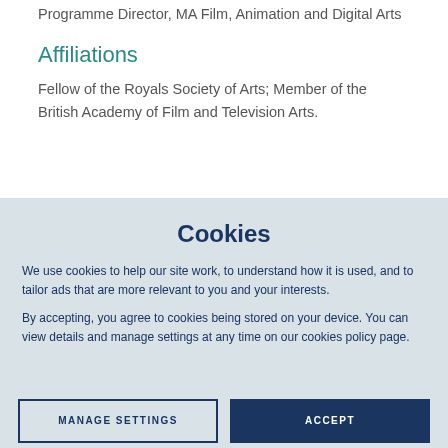Programme Director, MA Film, Animation and Digital Arts
Affiliations
Fellow of the Royals Society of Arts; Member of the British Academy of Film and Television Arts.
Cookies
We use cookies to help our site work, to understand how it is used, and to tailor ads that are more relevant to you and your interests.
By accepting, you agree to cookies being stored on your device. You can view details and manage settings at any time on our cookies policy page.
MANAGE SETTINGS
ACCEPT